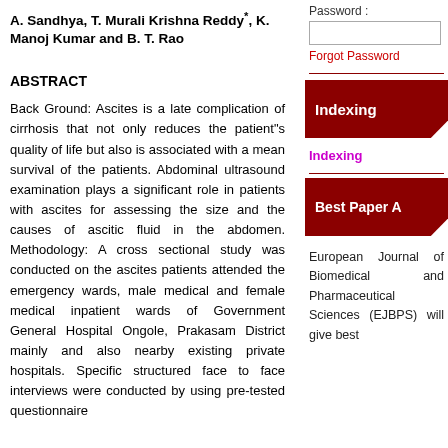A. Sandhya, T. Murali Krishna Reddy*, K. Manoj Kumar and B. T. Rao
ABSTRACT
Back Ground: Ascites is a late complication of cirrhosis that not only reduces the patient"s quality of life but also is associated with a mean survival of the patients. Abdominal ultrasound examination plays a significant role in patients with ascites for assessing the size and the causes of ascitic fluid in the abdomen. Methodology: A cross sectional study was conducted on the ascites patients attended the emergency wards, male medical and female medical inpatient wards of Government General Hospital Ongole, Prakasam District mainly and also nearby existing private hospitals. Specific structured face to face interviews were conducted by using pre-tested questionnaire
Password :
Forgot Password
Indexing
Indexing
Best Paper A
European Journal of Biomedical and Pharmaceutical Sciences (EJBPS) will give best